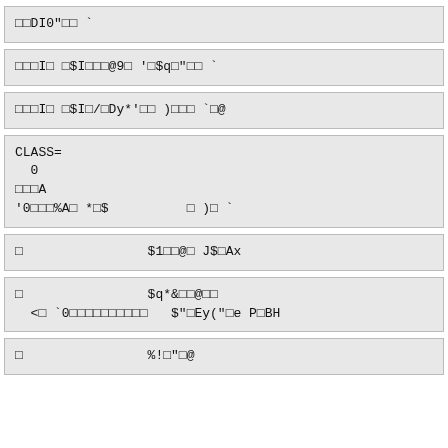□□DI0"□□ ·
□□□I□ □$I□□□@9□ '□$q□"□□ ·
□□□I□ □$I□/□Dy*'□□ )□□□ ·□@
CLASS=
  0
□□□A
'0□□□%A□ *□$          □ )□ ·
□                $1□□@□ J$□Ax
□                $q*&□□@□□
  <□ ·0□□□□□□□□□□□   $"□Ey("□e P□BH
□                %!□"□@